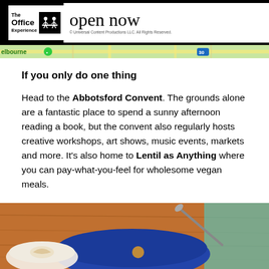[Figure (screenshot): Ad banner for 'The Office Experience' with 'open now' text and Universal Content Productions copyright notice]
[Figure (screenshot): Partial map strip showing 'elbourne' text and a green circle marker with road 30 label]
If you only do one thing
Head to the Abbotsford Convent. The grounds alone are a fantastic place to spend a sunny afternoon reading a book, but the convent also regularly hosts creative workshops, art shows, music events, markets and more. It's also home to Lentil as Anything where you can pay-what-you-feel for wholesome vegan meals.
[Figure (photo): Close-up photo of a blue bowl and a latte coffee cup on a wooden table]